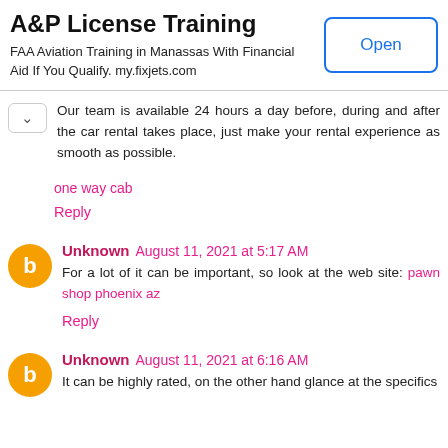[Figure (other): Ad banner: A&P License Training. FAA Aviation Training in Manassas With Financial Aid If You Qualify. my.fixjets.com. Open button.]
Our team is available 24 hours a day before, during and after the car rental takes place, just make your rental experience as smooth as possible.
one way cab
Reply
Unknown August 11, 2021 at 5:17 AM
For a lot of it can be important, so look at the web site: pawn shop phoenix az
Reply
Unknown August 11, 2021 at 6:16 AM
It can be highly rated, on the other hand glance at the specifics